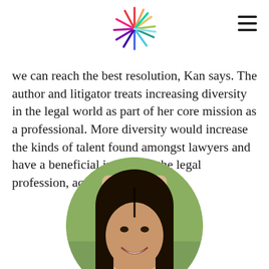[Logo and navigation]
we can reach the best resolution, Kan says. The author and litigator treats increasing diversity in the legal world as part of her core mission as a professional. More diversity would increase the kinds of talent found amongst lawyers and have a beneficial impact on the legal profession, according to Kan.
[Figure (photo): Circular portrait photo of a woman with long dark hair, smiling, with a blurred outdoor background]